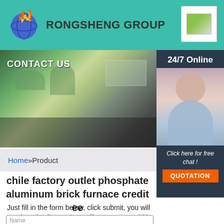RONGSHENG GROUP
[Figure (photo): Contact us office banner image showing open-plan office with plants and desks, with CONTACT US text overlay]
[Figure (photo): 24/7 Online sidebar with woman wearing headset, Click here for free chat text, and QUOTATION button]
Home »Product
chile factory outlet phosphate aluminum brick furnace credit ee
Just fill in the form below, click submit, you will get the price list, and we will contact you within one working day. Please also feel free to contact us via email or phone. (* is required).
[Figure (screenshot): Form input area beginning with Name field]